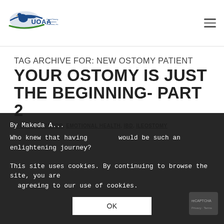[Figure (logo): UOAA United Ostomy Associations of America, Inc. logo with eagle and blue/green swoosh]
TAG ARCHIVE FOR: NEW OSTOMY PATIENT
YOUR OSTOMY IS JUST THE BEGINNING- PART 2
DIGITAL SPONSOR, EMOTIONAL HEALTH, IBD, ILEOSTOMY
By Makeda A...
Who knew that having ... would be such an enlightening journey?
This site uses cookies. By continuing to browse the site, you are agreeing to our use of cookies.